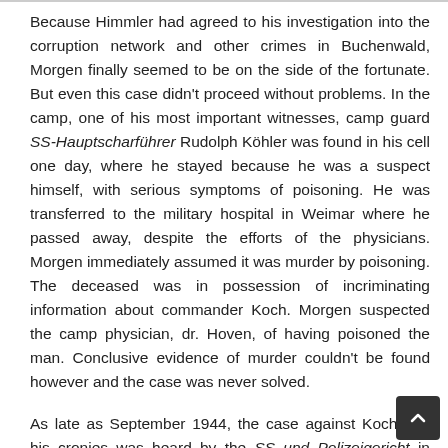Because Himmler had agreed to his investigation into the corruption network and other crimes in Buchenwald, Morgen finally seemed to be on the side of the fortunate. But even this case didn't proceed without problems. In the camp, one of his most important witnesses, camp guard SS-Hauptscharführer Rudolph Köhler was found in his cell one day, where he stayed because he was a suspect himself, with serious symptoms of poisoning. He was transferred to the military hospital in Weimar where he passed away, despite the efforts of the physicians. Morgen immediately assumed it was murder by poisoning. The deceased was in possession of incriminating information about commander Koch. Morgen suspected the camp physician, dr. Hoven, of having poisoned the man. Conclusive evidence of murder couldn't be found however and the case was never solved.
As late as September 1944, the case against Koch and his cronies was heard by the SS und Polizeigericht in Weimar. Not Morgen but other judges were to pass verdict on the charges he had drawn up. The trial was attended by SS-Gruppenführer Richard Glücks, chief of the Inspektion der Konzentrationslager (Inspection of concentration camps) and a high ranking official in Oswald Pohl's SS-Wirtschafts- und Verwaltungshauptamt (SS-WVHA). Its leadership attempted to prev...